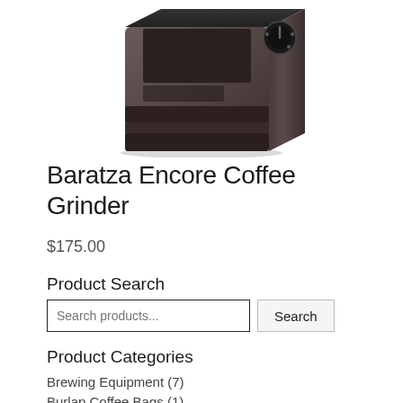[Figure (photo): Baratza Encore Coffee Grinder product photo showing a dark/black electric burr grinder with a knob on top right, viewed from a slightly elevated angle, cropped at the bottom of the page.]
Baratza Encore Coffee Grinder
$175.00
Product Search
Search products... Search
Product Categories
Brewing Equipment (7)
Burlap Coffee Bags (1)